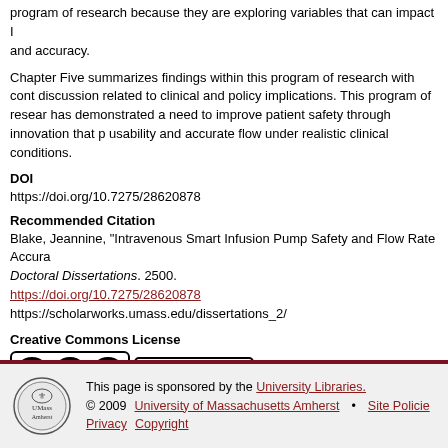program of research because they are exploring variables that can impact IV and accuracy.
Chapter Five summarizes findings within this program of research with cont discussion related to clinical and policy implications. This program of resear has demonstrated a need to improve patient safety through innovation that p usability and accurate flow under realistic clinical conditions.
DOI
https://doi.org/10.7275/28620878
Recommended Citation
Blake, Jeannine, "Intravenous Smart Infusion Pump Safety and Flow Rate Accura Doctoral Dissertations. 2500. https://doi.org/10.7275/28620878 https://scholarworks.umass.edu/dissertations_2/
Creative Commons License
[Figure (logo): Creative Commons license badge showing CC BY NC ND icons]
This work is licensed under a Creative Commons Attribution-Noncommercial-No Derivative Works 4.0 License.
This page is sponsored by the University Libraries. © 2009 University of Massachusetts Amherst • Site Policies Privacy Copyright